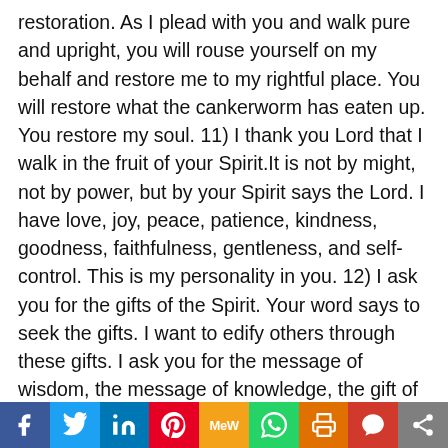restoration. As I plead with you and walk pure and upright, you will rouse yourself on my behalf and restore me to my rightful place. You will restore what the cankerworm has eaten up. You restore my soul. 11) I thank you Lord that I walk in the fruit of your Spirit.It is not by might, not by power, but by your Spirit says the Lord. I have love, joy, peace, patience, kindness, goodness, faithfulness, gentleness, and self-control. This is my personality in you. 12) I ask you for the gifts of the Spirit. Your word says to seek the gifts. I want to edify others through these gifts. I ask you for the message of wisdom, the message of knowledge, the gift of faith, the gift of healing, miraculous powers, the gift of prophecy, discerning of spirits, speaking in different kinds of tongues and the interpretation of t…
[Figure (infographic): Social media sharing bar with icons: Facebook, Twitter, LinkedIn, Pinterest, MeWe, WhatsApp, Print, Parler, Share]